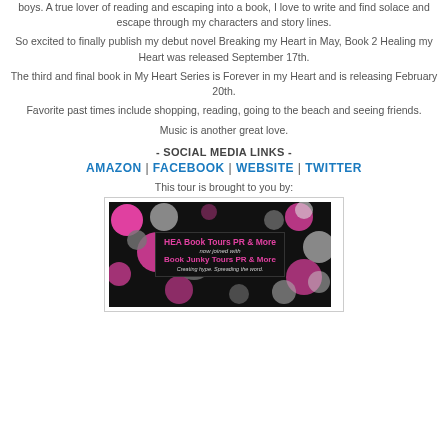boys. A true lover of reading and escaping into a book, I love to write and find solace and escape through my characters and story lines.
So excited to finally publish my debut novel Breaking my Heart in May, Book 2 Healing my Heart was released September 17th.
The third and final book in My Heart Series is Forever in my Heart and is releasing February 20th.
Favorite past times include shopping, reading, going to the beach and seeing friends.
Music is another great love.
- SOCIAL MEDIA LINKS -
AMAZON | FACEBOOK | WEBSITE | TWITTER
This tour is brought to you by:
[Figure (logo): HEA Book Tours PR & More now joined with Book Junky Tours PR & More banner with colorful circles on black background]